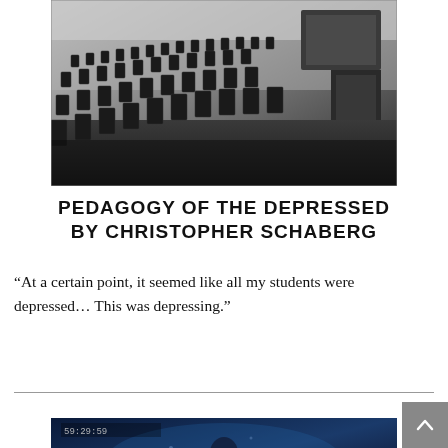[Figure (photo): Black and white photograph of an empty lecture hall with rows of chairs and a podium at the front]
PEDAGOGY OF THE DEPRESSED BY CHRISTOPHER SCHABERG
“At a certain point, it seemed like all my students were depressed… This was depressing.”
[Figure (screenshot): Dark blue-tinted video screenshot showing a figure in dim lighting with a timestamp reading 59:29:59]